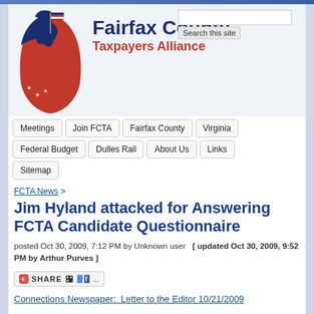[Figure (logo): Fairfax County Taxpayers Alliance logo with patriot figure in navy and red]
Fairfax County Taxpayers Alliance
Meetings
Join FCTA
Fairfax County
Virginia
Federal Budget
Dulles Rail
About Us
Links
Sitemap
FCTA News >
Jim Hyland attacked for Answering FCTA Candidate Questionnaire
posted Oct 30, 2009, 7:12 PM by Unknown user  [ updated Oct 30, 2009, 9:52 PM by Arthur Purves ]
[Figure (other): Share button widget with social media icons]
Connections Newspaper:  Letter to the Editor 10/21/2009